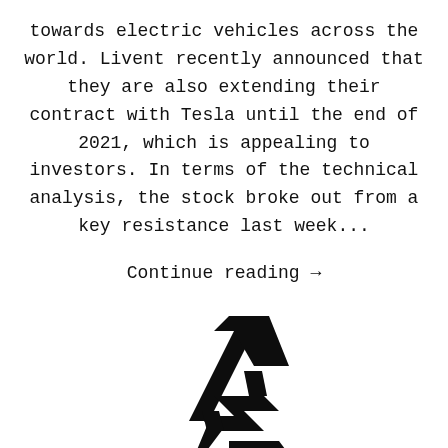towards electric vehicles across the world. Livent recently announced that they are also extending their contract with Tesla until the end of 2021, which is appealing to investors. In terms of the technical analysis, the stock broke out from a key resistance last week...
Continue reading →
[Figure (logo): A stylized logo composed of bold angular shapes forming letters 'HS' with an upward-pointing arrow, rendered in black on white background.]